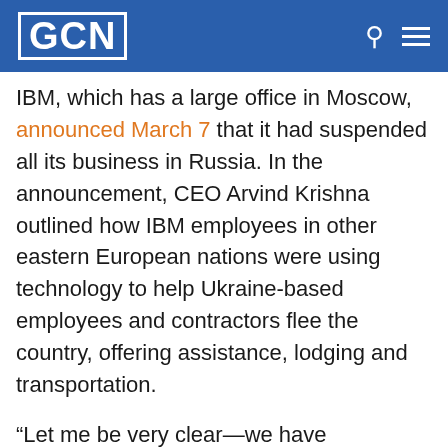GCN
IBM, which has a large office in Moscow, announced March 7 that it had suspended all its business in Russia. In the announcement, CEO Arvind Krishna outlined how IBM employees in other eastern European nations were using technology to help Ukraine-based employees and contractors flee the country, offering assistance, lodging and transportation.
“Let me be very clear—we have suspended all business in Russia,” Krishna said. “In Ukraine, we have been in constant touch with our local teams and continue to provide assistance that includes relocation and financial support. The safety and security of IBMers and their families in all areas impacted by this crisis remains our top priority,”